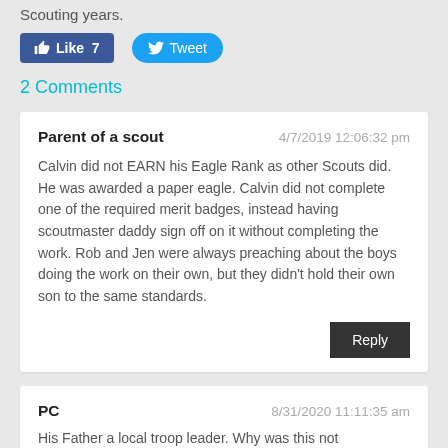Scouting years.
[Figure (other): Facebook Like button showing 7 likes and a Twitter Tweet button]
2 Comments
Parent of a scout
4/7/2019 12:06:32 pm

Calvin did not EARN his Eagle Rank as other Scouts did. He was awarded a paper eagle. Calvin did not complete one of the required merit badges, instead having scoutmaster daddy sign off on it without completing the work. Rob and Jen were always preaching about the boys doing the work on their own, but they didn't hold their own son to the same standards.
PC
8/31/2020 11:11:35 am

His Father a local troop leader. Why was this not